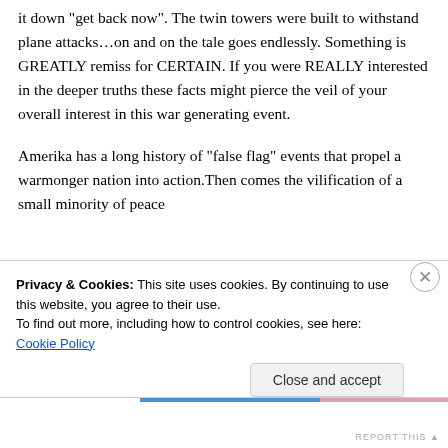it down "get back now". The twin towers were built to withstand plane attacks…on and on the tale goes endlessly. Something is GREATLY remiss for CERTAIN. If you were REALLY interested in the deeper truths these facts might pierce the veil of your overall interest in this war generating event.

Amerika has a long history of "false flag" events that propel a warmonger nation into action.Then comes the vilification of a small minority of peace
Privacy & Cookies: This site uses cookies. By continuing to use this website, you agree to their use.
To find out more, including how to control cookies, see here: Cookie Policy
Close and accept